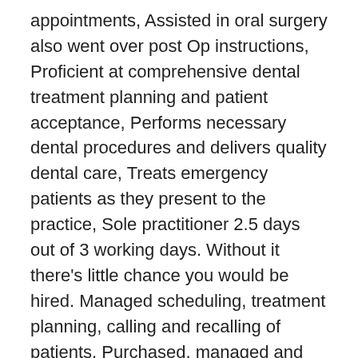appointments, Assisted in oral surgery also went over post Op instructions, Proficient at comprehensive dental treatment planning and patient acceptance, Performs necessary dental procedures and delivers quality dental care, Treats emergency patients as they present to the practice, Sole practitioner 2.5 days out of 3 working days. Without it there's little chance you would be hired. Managed scheduling, treatment planning, calling and recalling of patients, Purchased, managed and maintained personal dental supplies (separate from company supplies). We hope that this sample will help you in writing a professional general dentist resume. The common duties depicted on the General Dentist Resume include the following â?? removing decay from teeth, filling cavities, repairing cracked and fractured teeth, removing teeth, straightening teeth to bring back to biting position,